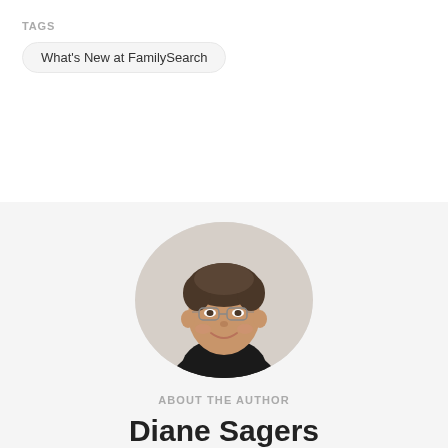TAGS
What's New at FamilySearch
[Figure (photo): Circular portrait photo of Diane Sagers, a woman with short dark hair and glasses, smiling, wearing a dark top, against a neutral background.]
ABOUT THE AUTHOR
Diane Sagers